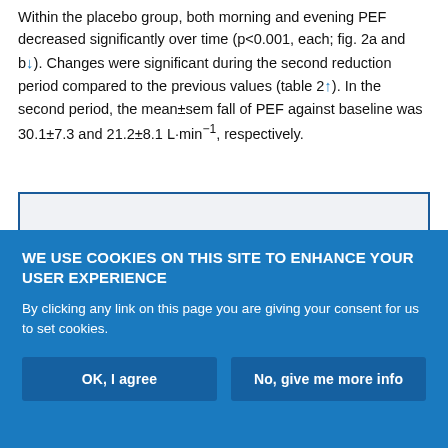Within the placebo group, both morning and evening PEF decreased significantly over time (p<0.001, each; fig. 2a and b↓). Changes were significant during the second reduction period compared to the previous values (table 2↑). In the second period, the mean±sem fall of PEF against baseline was 30.1±7.3 and 21.2±8.1 L·min⁻¹, respectively.
[Figure (other): Partially visible figure box with blue border, content cropped]
WE USE COOKIES ON THIS SITE TO ENHANCE YOUR USER EXPERIENCE
By clicking any link on this page you are giving your consent for us to set cookies.